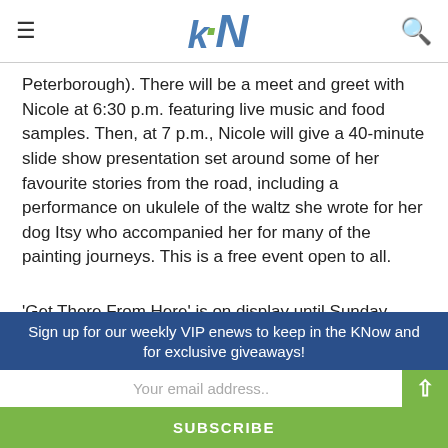kN logo with hamburger menu and search icon
Peterborough). There will be a meet and greet with Nicole at 6:30 p.m. featuring live music and food samples. Then, at 7 p.m., Nicole will give a 40-minute slide show presentation set around some of her favourite stories from the road, including a performance on ukulele of the waltz she wrote for her dog Itsy who accompanied her for many of the painting journeys. This is a free event open to all.
‘Get There From Here’ is on display until Sunday, June 2nd.
he Art Gallery of Peterborough is located at 250 Crescent
Sign up for our weekly VIP enews to keep in the KNow and for exclusive giveaways!
Your email address..
SUBSCRIBE